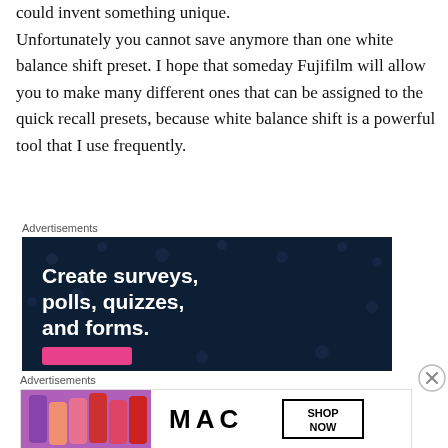could invent something unique. Unfortunately you cannot save anymore than one white balance shift preset. I hope that someday Fujifilm will allow you to make many different ones that can be assigned to the quick recall presets, because white balance shift is a powerful tool that I use frequently.
Advertisements
[Figure (other): Advertisement banner with dark navy background and polka dot pattern. White bold text reads 'Create surveys, polls, quizzes, and forms.' with a pink button at the bottom.]
Advertisements
[Figure (other): MAC cosmetics advertisement showing colorful lipsticks on the left, MAC logo in center, and a 'SHOP NOW' box on the right.]